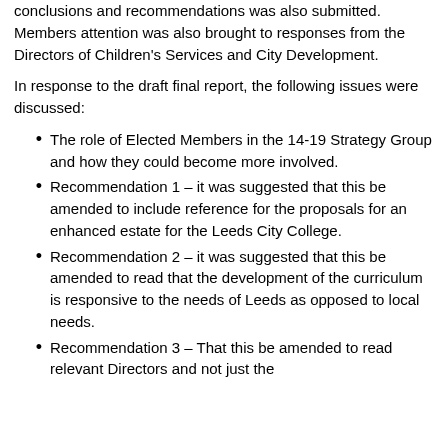conclusions and recommendations was also submitted. Members attention was also brought to responses from the Directors of Children's Services and City Development.
In response to the draft final report, the following issues were discussed:
The role of Elected Members in the 14-19 Strategy Group and how they could become more involved.
Recommendation 1 – it was suggested that this be amended to include reference for the proposals for an enhanced estate for the Leeds City College.
Recommendation 2 – it was suggested that this be amended to read that the development of the curriculum is responsive to the needs of Leeds as opposed to local needs.
Recommendation 3 – That this be amended to read relevant Directors and not just the